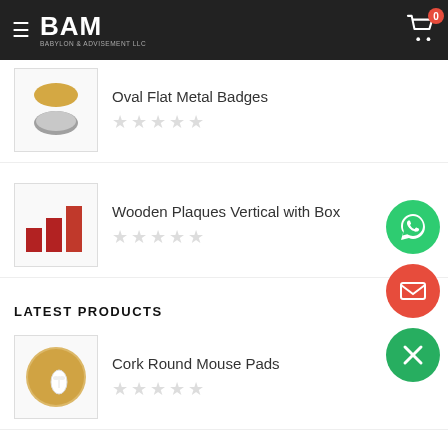BAM - Babylon & Advisement LLC - Navigation header with cart icon showing 0 items
[Figure (photo): Oval flat metal badges product thumbnail - gold and silver oval shapes]
Oval Flat Metal Badges
★★★★★ (empty stars rating)
[Figure (photo): Wooden Plaques Vertical with Box product thumbnail - red rectangular plaques in ascending height]
Wooden Plaques Vertical with Box
★★★★★ (empty stars rating)
LATEST PRODUCTS
[Figure (photo): Cork Round Mouse Pads product thumbnail - round cork mousepad with white mouse]
Cork Round Mouse Pads
★★★★★ (empty stars rating)
[Figure (photo): Bamboo Tea Coasters with Case product thumbnail - bamboo box]
Bamboo Tea Coasters with Case
★★★★★ (empty stars rating)